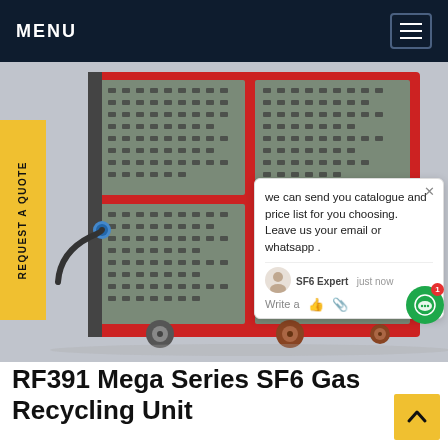MENU
[Figure (photo): RF391 Mega Series SF6 Gas Recycling Unit — a large industrial machine with red metal frame and grey perforated panels, mounted on wheels, with a blue hose connector visible on the left side.]
REQUEST A QUOTE
we can send you catalogue and price list for you choosing.
Leave us your email or whatsapp .
SF6 Expert   just now
Write a
RF391 Mega Series SF6 Gas Recycling Unit